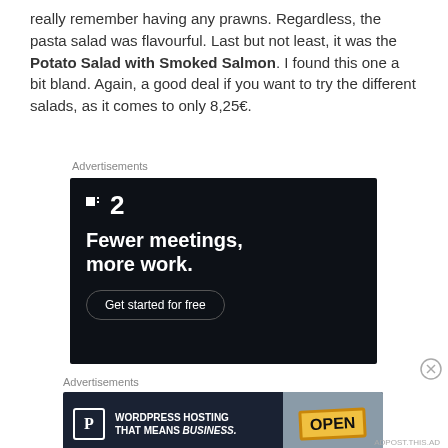really remember having any prawns. Regardless, the pasta salad was flavourful. Last but not least, it was the Potato Salad with Smoked Salmon. I found this one a bit bland. Again, a good deal if you want to try the different salads, as it comes to only 8,25€.
Advertisements
[Figure (other): Dark advertisement banner for a productivity app showing logo '.2', tagline 'Fewer meetings, more work.' and a 'Get started for free' button.]
Advertisements
[Figure (other): Dark advertisement banner for WordPress hosting showing a P icon and text 'WORDPRESS HOSTING THAT MEANS BUSINESS.' with an image of an OPEN sign.]